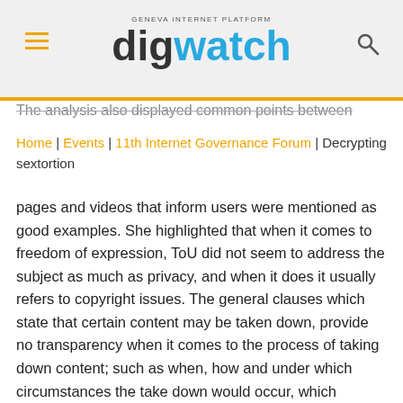GENEVA INTERNET PLATFORM digwatch
The analysis also displayed common points between
Home | Events | 11th Internet Governance Forum | Decrypting sextortion
pages and videos that inform users were mentioned as good examples. She highlighted that when it comes to freedom of expression, ToU did not seem to address the subject as much as privacy, and when it does it usually refers to copyright issues. The general clauses which state that certain content may be taken down, provide no transparency when it comes to the process of taking down content; such as when, how and under which circumstances the take down would occur, which directly relates to cases of sextortion. Venturini also mentioned that 44 platforms out of 50 stated that they may take down content without